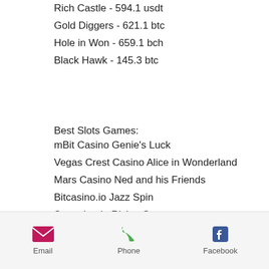Rich Castle - 594.1 usdt
Gold Diggers - 621.1 btc
Hole in Won - 659.1 bch
Black Hawk - 145.3 btc
Best Slots Games:
mBit Casino Genie's Luck
Vegas Crest Casino Alice in Wonderland
Mars Casino Ned and his Friends
Bitcasino.io Jazz Spin
Sportsbet.io Rising Sun
CryptoWild Casino Mr Toxicus
Playamo Casino Ambiance
BetChain Casino Super Safari
CryptoGames Ghostbusters
22Bet Casino Piggy Bank
FortuneJack Casino Safari Sam
Cloudbet Casino Treasure Room
Email  Phone  Facebook